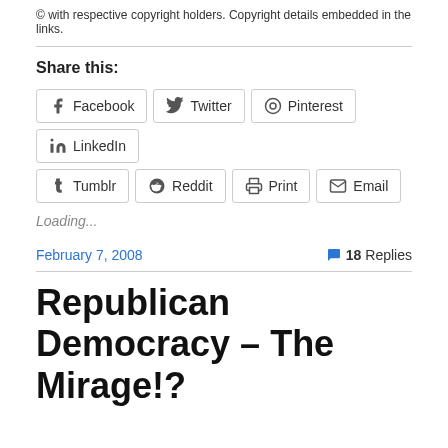© with respective copyright holders. Copyright details embedded in the links.
Share this:
Facebook  Twitter  Pinterest  LinkedIn  Tumblr  Reddit  Print  Email
Loading...
February 7, 2008 · 18 Replies
Republican Democracy – The Mirage!?